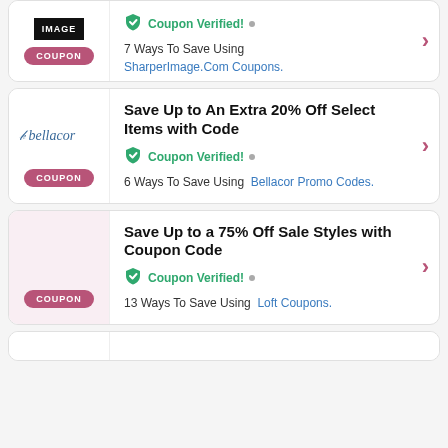[Figure (screenshot): Partial coupon card for SharperImage with black logo, COUPON badge, and verified coupon info showing 7 Ways To Save Using SharperImage.Com Coupons.]
[Figure (screenshot): Bellacor coupon card: Save Up to An Extra 20% Off Select Items with Code. Coupon Verified. 6 Ways To Save Using Bellacor Promo Codes.]
[Figure (screenshot): Loft coupon card: Save Up to a 75% Off Sale Styles with Coupon Code. Coupon Verified. 13 Ways To Save Using Loft Coupons.]
[Figure (screenshot): Partial bottom coupon card, cut off.]